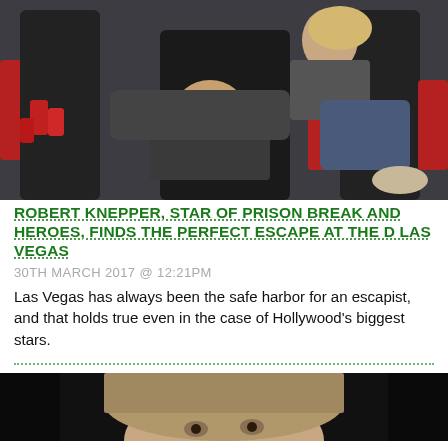[Figure (photo): Photo of a man and woman sitting in black and red chairs/seats, appearing relaxed and casual, with red plastic cups visible in the background.]
ROBERT KNEPPER, STAR OF PRISON BREAK AND HEROES, FINDS THE PERFECT ESCAPE AT THE D LAS VEGAS
30TH MARCH 2017 @ 12:21PM
Las Vegas has always been the safe harbor for an escapist, and that holds true even in the case of Hollywood's biggest stars.
[Figure (photo): Partial photo of a person with light brown/blonde hair, dark background, partially cut off at bottom of page.]